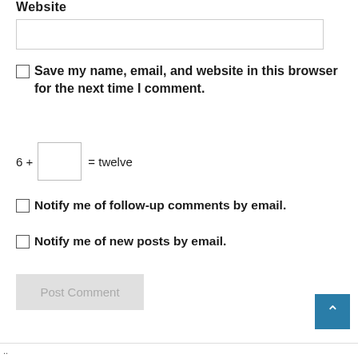Website
[Website input field]
Save my name, email, and website in this browser for the next time I comment.
Notify me of follow-up comments by email.
Notify me of new posts by email.
Post Comment
..